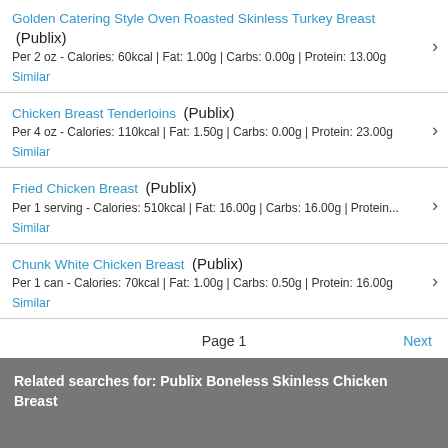Golden Catering Style Oven Roasted Skinless Turkey Breast (Publix)
Per 2 oz - Calories: 60kcal | Fat: 1.00g | Carbs: 0.00g | Protein: 13.00g
Similar
Chicken Breast Tenderloins (Publix)
Per 4 oz - Calories: 110kcal | Fat: 1.50g | Carbs: 0.00g | Protein: 23.00g
Similar
Fried Chicken Breast (Publix)
Per 1 serving - Calories: 510kcal | Fat: 16.00g | Carbs: 16.00g | Protein...
Similar
Chunk White Chicken Breast (Publix)
Per 1 can - Calories: 70kcal | Fat: 1.00g | Carbs: 0.50g | Protein: 16.00g
Similar
Page 1
Next
Related searches for: Publix Boneless Skinless Chicken Breast